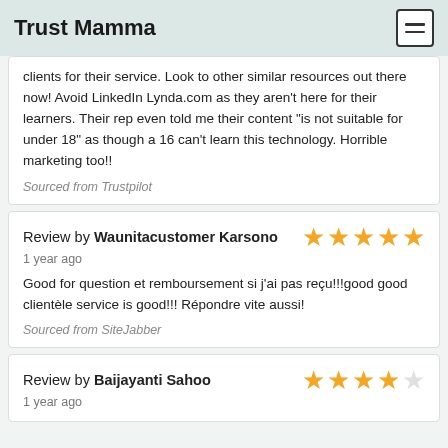Trust Mamma
clients for their service. Look to other similar resources out there now! Avoid LinkedIn Lynda.com as they aren't here for their learners. Their rep even told me their content "is not suitable for under 18" as though a 16 can't learn this technology. Horrible marketing too!!
Sourced from Trustpilot
Review by Waunitacustomer Karsono
1 year ago
Good for question et remboursement si j'ai pas reçu!!!good good clientèle service is good!!! Répondre vite aussi!
Sourced from SiteJabber
Review by Baijayanti Sahoo
1 year ago